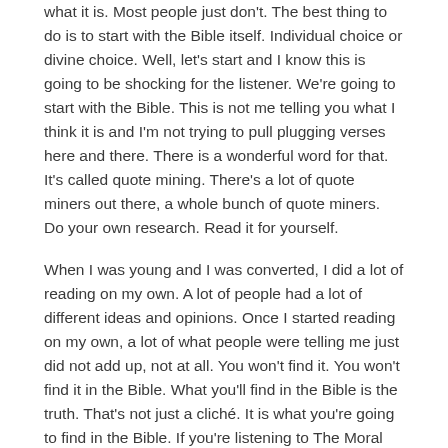what it is. Most people just don't. The best thing to do is to start with the Bible itself. Individual choice or divine choice. Well, let's start and I know this is going to be shocking for the listener. We're going to start with the Bible. This is not me telling you what I think it is and I'm not trying to pull plugging verses here and there. There is a wonderful word for that. It's called quote mining. There's a lot of quote miners out there, a whole bunch of quote miners. Do your own research. Read it for yourself.
When I was young and I was converted, I did a lot of reading on my own. A lot of people had a lot of different ideas and opinions. Once I started reading on my own, a lot of what people were telling me just did not add up, not at all. You won't find it. You won't find it in the Bible. What you'll find in the Bible is the truth. That's not just a cliché. It is what you're going to find in the Bible. If you're listening to The Moral Foundations Podcast, hopefully you're concerned about the truth.